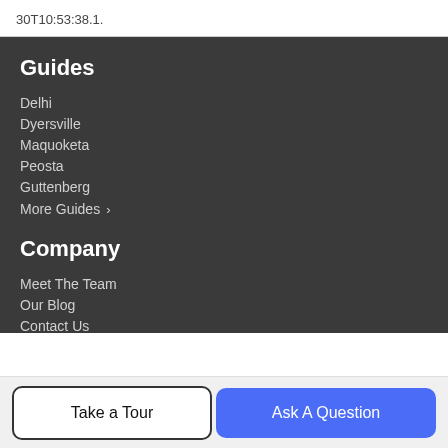30T10:53:38.1.
Guides
Delhi
Dyersville
Maquoketa
Peosta
Guttenberg
More Guides >
Company
Meet The Team
Our Blog
Contact Us (partial)
Take a Tour
Ask A Question